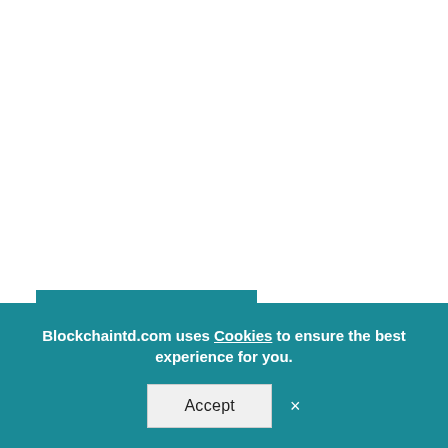CRYPTOCURRENCY NEWS
Stake, Mint, and Get Access to Yield Farming with WEWE Global
The terms yield farming, staking, and minting are all very well-
Blockchaintd.com uses Cookies to ensure the best experience for you.